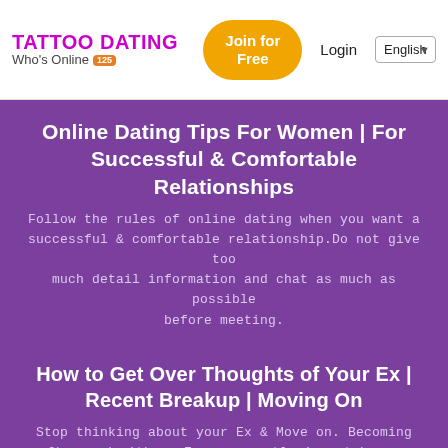TATTOO DATING | Who's Online 125 | Join for Free | Login | English
Online Dating Tips For Women | For Successful & Comfortable Relationships
Follow the rules of online dating when you want a successful & comfortable relationship.Do not give too much detail information and chat as much as possible before meeting.
How to Get Over Thoughts of Your Ex | Recent Breakup | Moving On
Stop thinking about your Ex & Move on. Becoming Obsessed with an Ex can greatly impact how a person feels. Learn to Break the Cycle & become free...